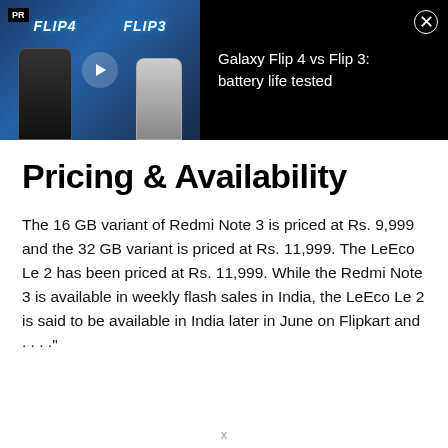[Figure (screenshot): Ad banner showing Galaxy Flip 4 vs Flip 3 battery life test video thumbnail with two phones side by side on a dark background, with a play button in the center. Contains PR badge in top left and close (X) button in top right.]
Pricing & Availability
The 16 GB variant of Redmi Note 3 is priced at Rs. 9,999 and the 32 GB variant is priced at Rs. 11,999. The LeEco Le 2 has been priced at Rs. 11,999. While the Redmi Note 3 is available in weekly flash sales in India, the LeEco Le 2 is said to be available in India later in June on Flipkart and ...